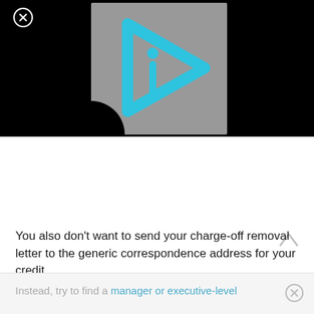[Figure (logo): Gray square background with a cyan/teal outlined play-button triangle shape with the letter 'i' inside, on a black banner]
You also don’t want to send your charge-off removal letter to the generic correspondence address for your credit.
Instead, try to find a manager or executive-level